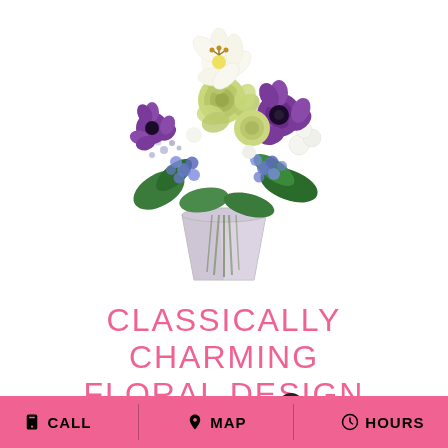[Figure (photo): A floral arrangement in a clear faceted glass vase featuring white lilies, green roses, purple anemones, blue delphinium, white alstroemeria, and greenery against a white background.]
CLASSICALLY CHARMING FLORAL DESIGN
Shown at $80.00
CALL   MAP   HOURS